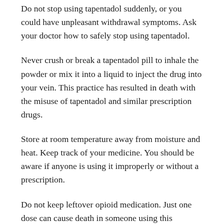Do not stop using tapentadol suddenly, or you could have unpleasant withdrawal symptoms. Ask your doctor how to safely stop using tapentadol.
Never crush or break a tapentadol pill to inhale the powder or mix it into a liquid to inject the drug into your vein. This practice has resulted in death with the misuse of tapentadol and similar prescription drugs.
Store at room temperature away from moisture and heat. Keep track of your medicine. You should be aware if anyone is using it improperly or without a prescription.
Do not keep leftover opioid medication. Just one dose can cause death in someone using this medicine accidentally or improperly. Ask your pharmacist where to locate a drug take-back disposal program. If there is no take-back program, flush the unused medicine down